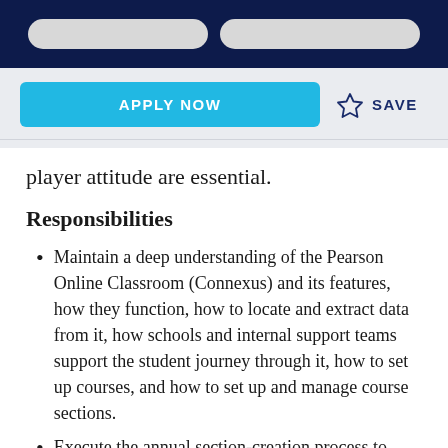[Figure (screenshot): Dark navy top navigation bar with two pill-shaped gray input/search fields]
[Figure (screenshot): Apply Now button (cyan/blue) and Save button with star icon]
player attitude are essential.
Responsibilities
Maintain a deep understanding of the Pearson Online Classroom (Connexus) and its features, how they function, how to locate and extract data from it, how schools and internal support teams support the student journey through it, how to set up courses, and how to set up and manage course sections.
Execute the annual section-creation process to create sections for each course at